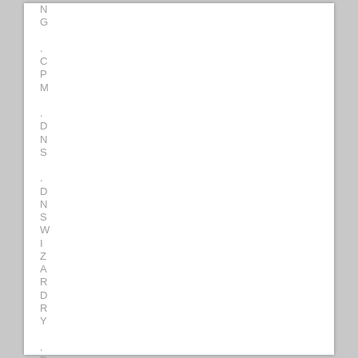N G . C P M . D N S . D N S W I Z A R D R Y . D O M A I N